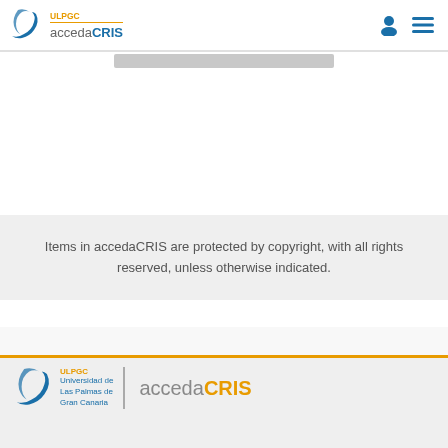accedaCRIS — ULPGC repository header with logo and navigation icons
Items in accedaCRIS are protected by copyright, with all rights reserved, unless otherwise indicated.
ULPGC Universidad de Las Palmas de Gran Canaria | accedaCRIS logo footer